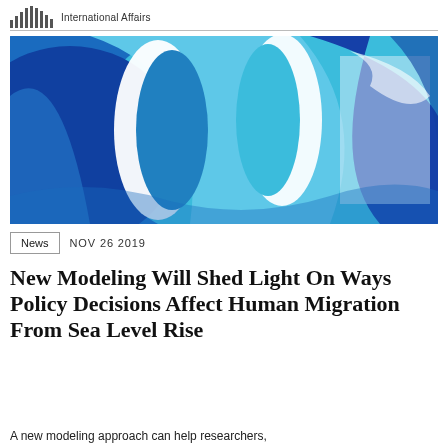International Affairs
[Figure (illustration): Abstract paper-cut style illustration showing overlapping curved blue shapes (various shades: navy, royal blue, teal, sky blue) with white silhouetted human face profiles cut out of the layers, suggesting themes of migration, identity, and global movement.]
News   NOV 26 2019
New Modeling Will Shed Light On Ways Policy Decisions Affect Human Migration From Sea Level Rise
A new modeling approach can help researchers,